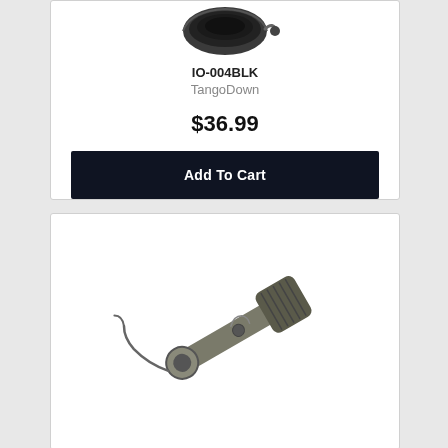[Figure (photo): Product photo of TangoDown IO-004BLK item, partially visible at top of first card]
IO-004BLK
TangoDown
$36.99
Add To Cart
[Figure (photo): Product photo of a metal firearm part/component (magazine release or similar accessory) with a rubberized grip, shown on a white background in the second product card]